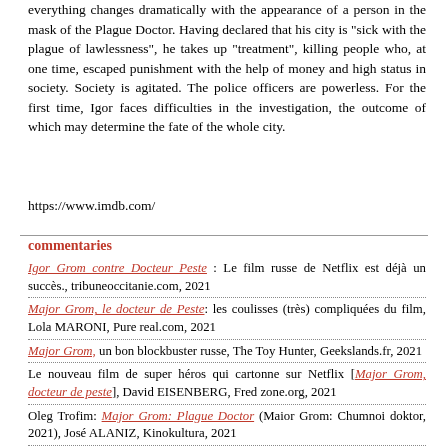everything changes dramatically with the appearance of a person in the mask of the Plague Doctor. Having declared that his city is "sick with the plague of lawlessness", he takes up "treatment", killing people who, at one time, escaped punishment with the help of money and high status in society. Society is agitated. The police officers are powerless. For the first time, Igor faces difficulties in the investigation, the outcome of which may determine the fate of the whole city.
https://www.imdb.com/
commentaries
Igor Grom contre Docteur Peste : Le film russe de Netflix est déjà un succès., tribuneoccitanie.com, 2021
Major Grom, le docteur de Peste: les coulisses (très) compliquées du film, Lola MARONI, Pure real.com, 2021
Major Grom, un bon blockbuster russe, The Toy Hunter, Geekslands.fr, 2021
Le nouveau film de super héros qui cartonne sur Netflix [Major Grom, docteur de peste], David EISENBERG, Fred zone.org, 2021
Oleg Trofim: Major Grom: Plague Doctor (Maior Grom: Chumnoi doktor, 2021), José ALANIZ, Kinokultura, 2021
RUSSIA BEYOND : Cinq raisons de regarder Major Grom: Plague Doctor sur Netflix, RUSSIA BEYOND, 2021
Plague Doctor Trailer donne vie à la bande dessinée russe populaire, urban-fusions.fr, 2020